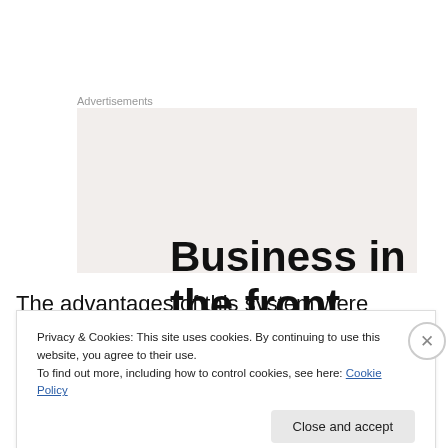Advertisements
[Figure (other): Advertisement banner with bold text reading 'Business in the front...' on a light beige/grey background]
The advantages of this system were considerable, especially when mathematics became more than simply a way to record financial transactions. Moreover, zero came
Privacy & Cookies: This site uses cookies. By continuing to use this website, you agree to their use.
To find out more, including how to control cookies, see here: Cookie Policy
Close and accept